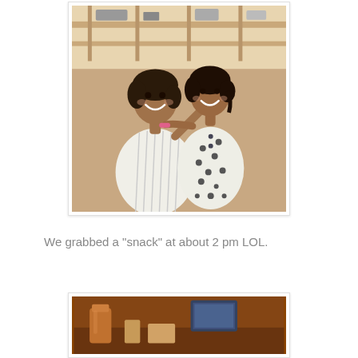[Figure (photo): Two girls smiling back-to-back, wearing white striped and polka-dot dresses, indoors in what appears to be a store or restaurant setting]
We grabbed a "snack" at about 2 pm LOL.
[Figure (photo): Partial view of a second photo, appears to show food or drinks on a table, partially cut off at bottom of page]